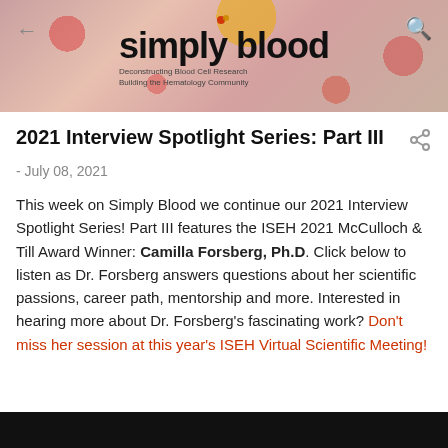[Figure (photo): Simply Blood website header banner with colorful blood cell imagery in pinkish-red tones, showing circular/spherical shapes representing blood cells. Back arrow icon on left, search icon on right, 'simply blood' logo in center with subtitle 'Deconstructing Blood Cell Research / Building the Hematology Community'.]
2021 Interview Spotlight Series: Part III
- July 08, 2021
This week on Simply Blood we continue our 2021 Interview Spotlight Series! Part III features the ISEH 2021 McCulloch & Till Award Winner: Camilla Forsberg, Ph.D. Click below to listen as Dr. Forsberg answers questions about her scientific passions, career path, mentorship and more. Interested in hearing more about Dr. Forsberg's fascinating work? Don't miss her session at this year's ISEH Virtual Scientific Meeting!
[Figure (screenshot): Dark/black bottom strip showing the beginning of a video thumbnail]